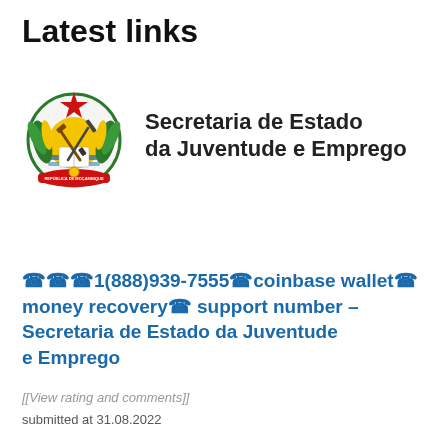Latest links
[Figure (logo): Mozambique state emblem / coat of arms with red star, book, hoe and rifle on yellow and green background with red ribbon]
Secretaria de Estado da Juventude e Emprego
☎☎☎1(888)939-7555☎coinbase wallet☎ money recovery☎ support number – Secretaria de Estado da Juventude e Emprego
[[View rating and comments]]
submitted at 31.08.2022